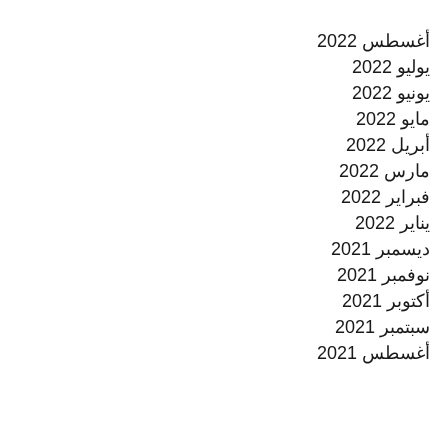أغسطس 2022
يوليو 2022
يونيو 2022
مايو 2022
أبريل 2022
مارس 2022
فبراير 2022
يناير 2022
ديسمبر 2021
نوفمبر 2021
أكتوبر 2021
سبتمبر 2021
أغسطس 2021